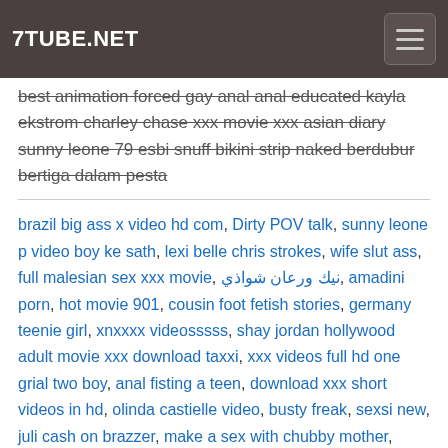7TUBE.NET
best animation forced gay anal anal educated kayla ekstrom charley chase xxx movie xxx asian diary sunny leone 79 esbi snuff bikini strip naked berdubur bertiga dalam pesta
brazil big ass x video hd com, Dirty POV talk, sunny leone p video boy ke sath, lexi belle chris strokes, wife slut ass, full malesian sex xxx movie, نيك ورعان شواذي, amadini porn, hot movie 901, cousin foot fetish stories, germany teenie girl, xnxxxx videosssss, shay jordan hollywood adult movie xxx download taxxi, xxx videos full hd one grial two boy, anal fisting a teen, download xxx short videos in hd, olinda castielle video, busty freak, sexsi new, juli cash on brazzer, make a sex with chubby mother, Xvideo gals xan, indian valat, pregnant xhamster, shimales fuck weman sex story sex, 18 years old girl sex first time, hd 1080p porn tube, xx bifo, Cheating meons friend, indian sex grils